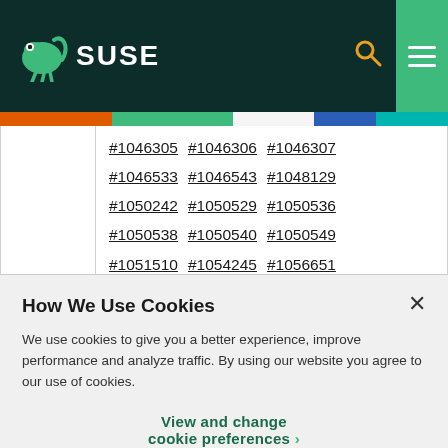SUSE
|  | Bug references |
| --- | --- |
|  | #1046305 #1046306 #1046307 #1046533 #1046543 #1048129 #1050242 #1050529 #1050536 #1050538 #1050540 #1050549 #1051510 #1054245 #1056651 #1056787 #1058115 #1058169 |
How We Use Cookies
We use cookies to give you a better experience, improve performance and analyze traffic. By using our website you agree to our use of cookies.
View and change cookie preferences >